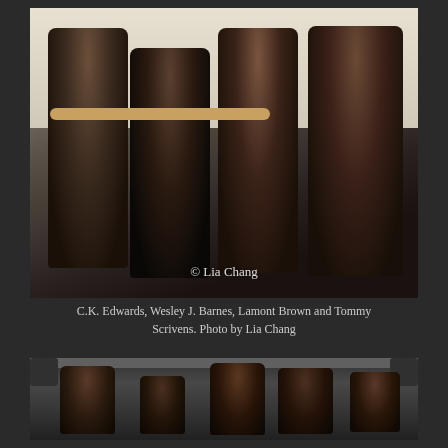[Figure (photo): Four men dressed in black standing together smiling in what appears to be a dance studio with a ballet barre visible in the background. A watermark reading '© Lia Chang' is overlaid on the image.]
C.K. Edwards, Wesley J. Barnes, Lamont Brown and Tommy Scrivens. Photo by Lia Chang
[Figure (photo): Group of performers dressed in black dancing energetically on a stage with theatrical lighting equipment visible above them.]